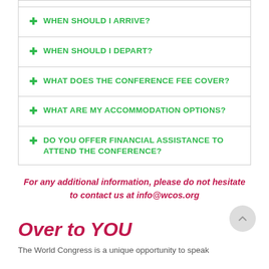WHEN SHOULD I ARRIVE?
WHEN SHOULD I DEPART?
WHAT DOES THE CONFERENCE FEE COVER?
WHAT ARE MY ACCOMMODATION OPTIONS?
DO YOU OFFER FINANCIAL ASSISTANCE TO ATTEND THE CONFERENCE?
For any additional information, please do not hesitate to contact us at info@wcos.org
Over to YOU
The World Congress is a unique opportunity to speak